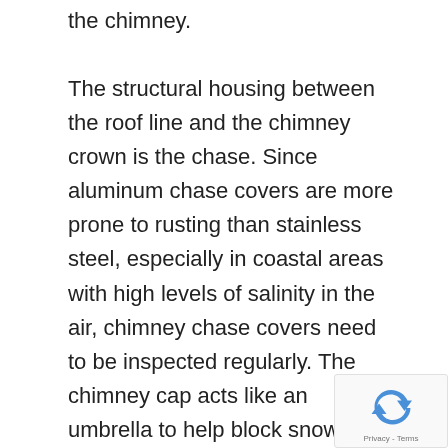the chimney.
The structural housing between the roof line and the chimney crown is the chase. Since aluminum chase covers are more prone to rusting than stainless steel, especially in coastal areas with high levels of salinity in the air, chimney chase covers need to be inspected regularly. The chimney cap acts like an umbrella to help block snow, rain, water, birds, animals and debris from